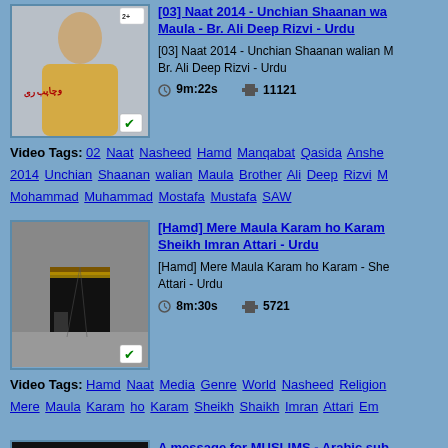[Figure (screenshot): Thumbnail of a person in golden dress, video listing item 1]
[03] Naat 2014 - Unchian Shaanan walian Maula - Br. Ali Deep Rizvi - Urdu
[03] Naat 2014 - Unchian Shaanan walian Maula Br. Ali Deep Rizvi - Urdu
9m:22s   11121
Video Tags: 02 Naat Nasheed Hamd Manqabat Qasida Anshe 2014 Unchian Shaanan walian Maula Brother Ali Deep Rizvi Mohammad Muhammad Mostafa Mustafa SAW
[Figure (screenshot): Thumbnail of the Kaaba in Mecca, video listing item 2]
[Hamd] Mere Maula Karam ho Karam - Sheikh Imran Attari - Urdu
[Hamd] Mere Maula Karam ho Karam - Sheikh Attari - Urdu
8m:30s   5721
Video Tags: Hamd Naat Media Genre World Nasheed Religion Mere Maula Karam ho Karam Sheikh Shaikh Imran Attari Em
[Figure (screenshot): Thumbnail with dark background and www.iumair text, video listing item 3]
A message for MUSLIMS - Arabic sub English
Maula Ya Salle - Arabic sub English. A mes